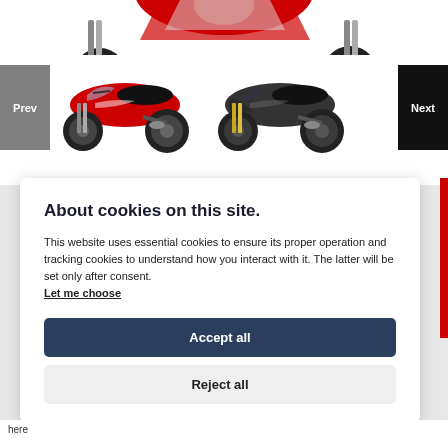[Figure (photo): Partial view of a motorcycle (top portion cropped), showing the upper fairing and wheels of a sport motorcycle against white background]
[Figure (photo): Carousel with two sport motorcycles: a red/black Honda CBR500R on the left, and a dark grey/black Honda CBR500R on the right. Prev button on left, Next button on right.]
About cookies on this site.
This website uses essential cookies to ensure its proper operation and tracking cookies to understand how you interact with it. The latter will be set only after consent. Let me choose
Accept all
Reject all
here